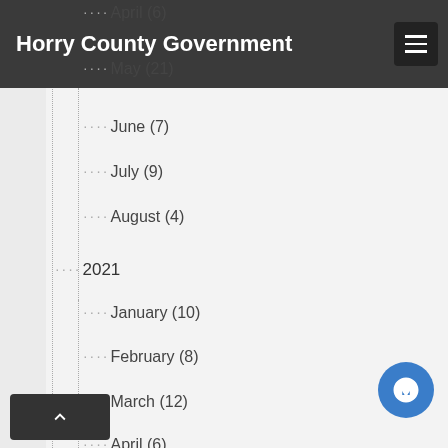Horry County Government
April (6)
May (21)
June (7)
July (9)
August (4)
2021
January (10)
February (8)
March (12)
April (6)
May (4)
June (4)
July (8)
August (12)
September (7)
October (6)
November (8)
December (10)
2020